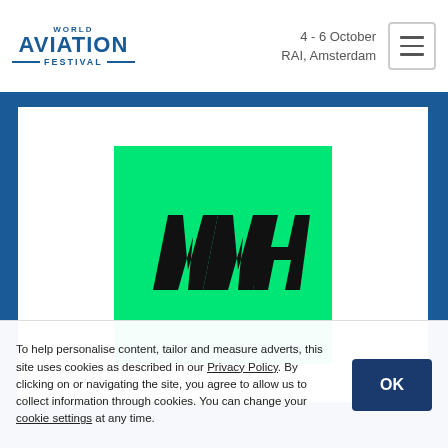WORLD AVIATION FESTIVAL — 4 - 6 October, RAI, Amsterdam
[Figure (logo): Green square logo with stylized black angular LLH lettermark (Lufthansa Systems or similar aviation tech brand) on bright green background]
To help personalise content, tailor and measure adverts, this site uses cookies as described in our Privacy Policy. By clicking on or navigating the site, you agree to allow us to collect information through cookies. You can change your cookie settings at any time.